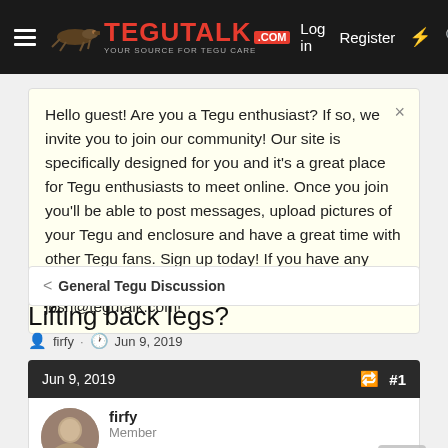TeguTalk.com — Log in   Register
Hello guest! Are you a Tegu enthusiast? If so, we invite you to join our community! Our site is specifically designed for you and it's a great place for Tegu enthusiasts to meet online. Once you join you'll be able to post messages, upload pictures of your Tegu and enclosure and have a great time with other Tegu fans. Sign up today! If you have any questions, problems, or other concerns email josh@tegutalk.com!
General Tegu Discussion
Lifting back legs?
firfy · Jun 9, 2019
Jun 9, 2019  #1
firfy
Member